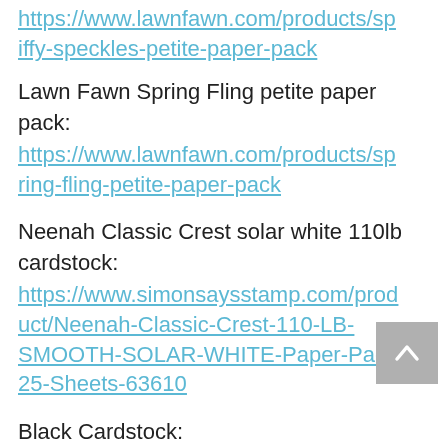https://www.lawnfawn.com/products/spiffy-speckles-petite-paper-pack
Lawn Fawn Spring Fling petite paper pack:
https://www.lawnfawn.com/products/spring-fling-petite-paper-pack
Neenah Classic Crest solar white 110lb cardstock:
https://www.simonsaysstamp.com/product/Neenah-Classic-Crest-110-LB-SMOOTH-SOLAR-WHITE-Paper-Pack-25-Sheets-63610
Black Cardstock:
https://www.simonsaysstamp.com/search?currency=USD&q=black+cardstock